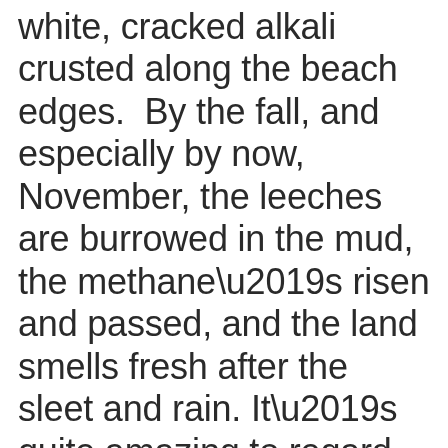white, cracked alkali crusted along the beach edges.  By the fall, and especially by now, November, the leeches are burrowed in the mud, the methane’s risen and passed, and the land smells fresh after the sleet and rain. It’s quite amazing to regard the sky so full of stars arcing above the low hills,  and sacred sagebrush grows all over these hills, and if your eyes reach far enough, there seem to be no gaps in the grey and